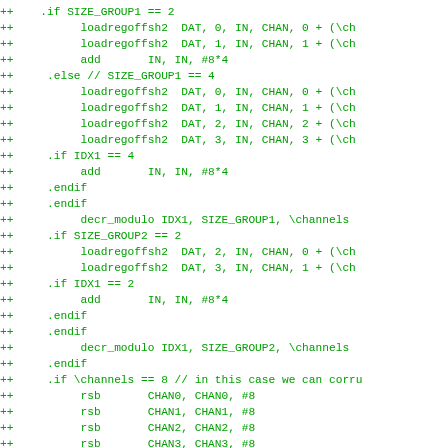++    .if SIZE_GROUP1 == 2
++          loadregoffsh2  DAT, 0, IN, CHAN, 0 + (\ch
++          loadregoffsh2  DAT, 1, IN, CHAN, 1 + (\ch
++          add       IN, IN, #8*4
++     .else // SIZE_GROUP1 == 4
++          loadregoffsh2  DAT, 0, IN, CHAN, 0 + (\ch
++          loadregoffsh2  DAT, 1, IN, CHAN, 1 + (\ch
++          loadregoffsh2  DAT, 2, IN, CHAN, 2 + (\ch
++          loadregoffsh2  DAT, 3, IN, CHAN, 3 + (\ch
++     .if IDX1 == 4
++          add       IN, IN, #8*4
++     .endif
++     .endif
++          decr_modulo IDX1, SIZE_GROUP1, \channels
++     .if SIZE_GROUP2 == 2
++          loadregoffsh2  DAT, 2, IN, CHAN, 0 + (\ch
++          loadregoffsh2  DAT, 3, IN, CHAN, 1 + (\ch
++     .if IDX1 == 2
++          add       IN, IN, #8*4
++     .endif
++     .endif
++          decr_modulo IDX1, SIZE_GROUP2, \channels
++     .endif
++     .if \channels == 8 // in this case we can corru
++          rsb       CHAN0, CHAN0, #8
++          rsb       CHAN1, CHAN1, #8
++          rsb       CHAN2, CHAN2, #8
++          rsb       CHAN3, CHAN3, #8
++          lsl       DAT0, #8 + \shift
++          lsl       DAT1, #8 + \shift